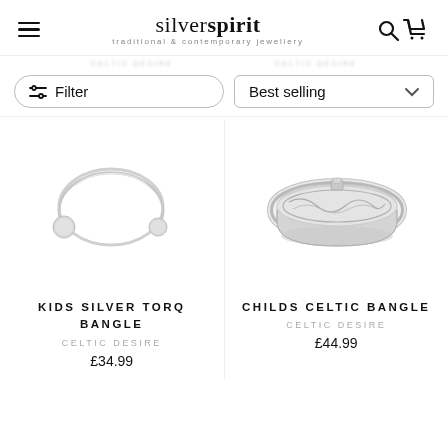silverspirit — traditional & contemporary jewellery
Filter | Best selling
[Figure (photo): Kids Silver Torq Bangle — a thin silver wire bangle with two small circular disc ends, open circular form]
KIDS SILVER TORQ BANGLE
CELTIC DESIRE
£34.99
[Figure (photo): Childs Celtic Bangle — a wide solid silver bangle with engraved Celtic knotwork pattern, hinged or solid band form]
CHILDS CELTIC BANGLE
CELTIC DESIRE
£44.99